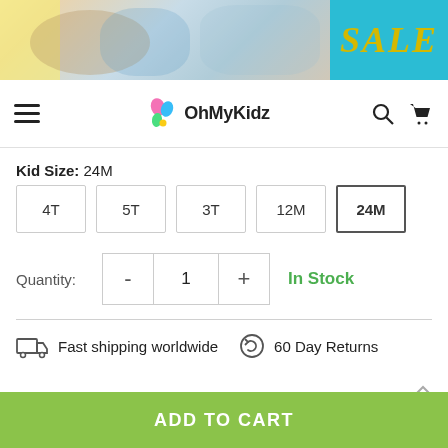[Figure (photo): E-commerce website banner showing a mother with child, toys, and a cyan SALE badge on the right]
[Figure (screenshot): OhMyKidz website navigation bar with hamburger menu, logo, search and cart icons]
Kid Size: 24M
4T
5T
3T
12M
24M (selected)
Quantity: 1  In Stock
Fast shipping worldwide   60 Day Returns
Guaranteed Safe Checkout
ADD TO CART